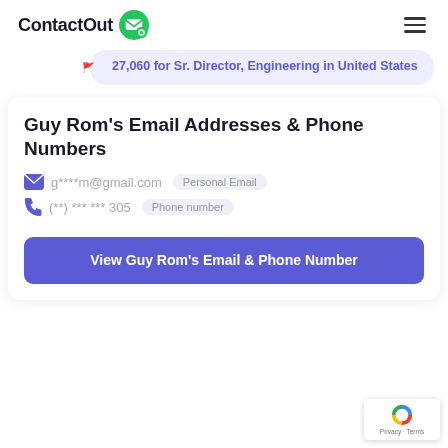ContactOut [logo]
27,060 for Sr. Director, Engineering in United States
Guy Rom's Email Addresses & Phone Numbers
g****m@gmail.com  Personal Email
(**) *** *** 305  Phone number
View Guy Rom's Email & Phone Number